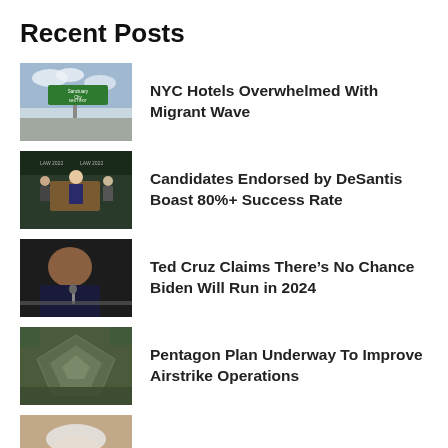Recent Posts
NYC Hotels Overwhelmed With Migrant Wave
Candidates Endorsed by DeSantis Boast 80%+ Success Rate
Ted Cruz Claims There’s No Chance Biden Will Run in 2024
Pentagon Plan Underway To Improve Airstrike Operations
Ex-Homeland Security Chief